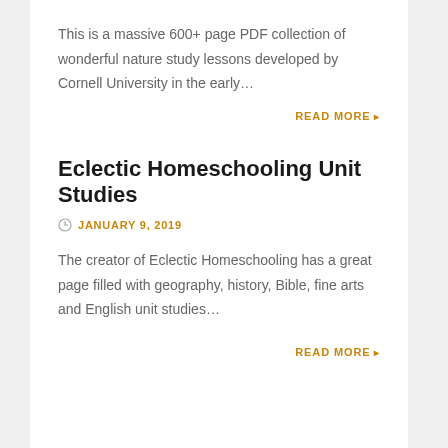This is a massive 600+ page PDF collection of wonderful nature study lessons developed by Cornell University in the early…
READ MORE ▸
Eclectic Homeschooling Unit Studies
JANUARY 9, 2019
The creator of Eclectic Homeschooling has a great page filled with geography, history, Bible, fine arts and English unit studies…
READ MORE ▸